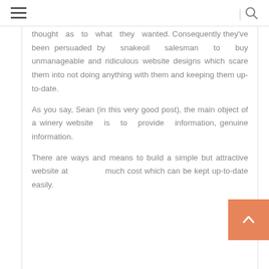≡  |  🔍
thought as to what they wanted. Consequently they've been persuaded by snakeoil salesman to buy unmanageable and ridiculous website designs which scare them into not doing anything with them and keeping them up-to-date.

As you say, Sean (in this very good post), the main object of a winery website is to provide information, genuine information.

There are ways and means to build a simple but attractive website at much cost which can be kept up-to-date easily.